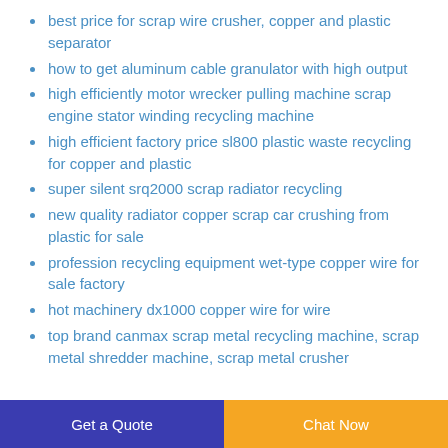best price for scrap wire crusher, copper and plastic separator
how to get aluminum cable granulator with high output
high efficiently motor wrecker pulling machine scrap engine stator winding recycling machine
high efficient factory price sl800 plastic waste recycling for copper and plastic
super silent srq2000 scrap radiator recycling
new quality radiator copper scrap car crushing from plastic for sale
profession recycling equipment wet-type copper wire for sale factory
hot machinery dx1000 copper wire for wire
top brand canmax scrap metal recycling machine, scrap metal shredder machine, scrap metal crusher
Get a Quote | Chat Now